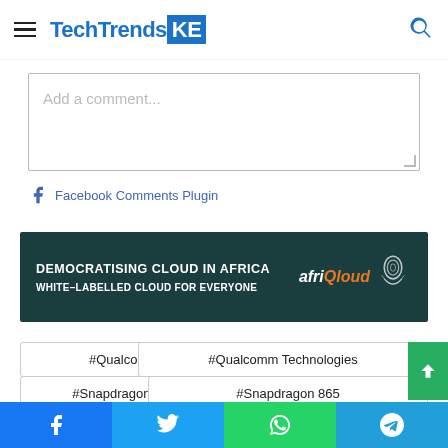TechTrendsKE
Add a comment...
Facebook Comments Plugin
[Figure (other): afriQloud advertisement banner: DEMOCRATISING CLOUD IN AFRICA / WHITE-LABELLED CLOUD FOR EVERYONE with afriQloud logo and fingerprint graphic]
#Qualcomm
#Qualcomm Technologies
#Snapdragon 765
#Snapdragon 865
Facebook  Twitter  WhatsApp  Telegram share buttons